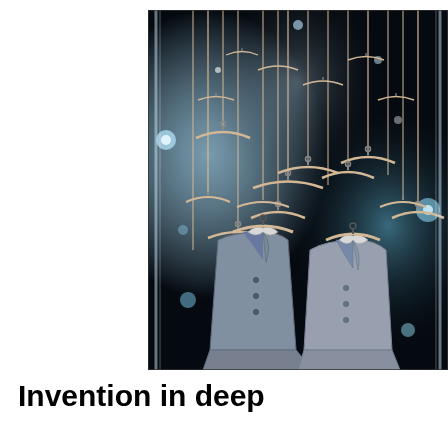[Figure (photo): A retail window display showing multiple wooden clothes hangers suspended from the ceiling by thin rods against a dark background with bokeh light effects. In the foreground, two gray suit jackets/coats are displayed on mannequins, with dozens of empty hangers arranged above.]
Invention in deep